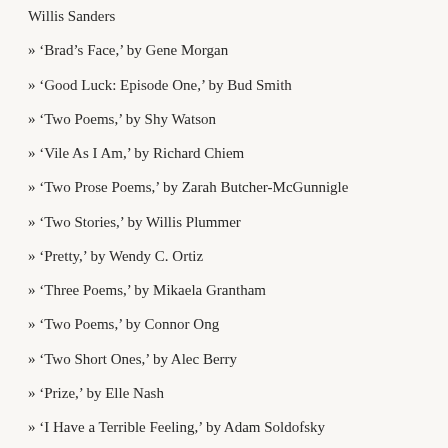Willis Sanders
» 'Brad's Face,' by Gene Morgan
» 'Good Luck: Episode One,' by Bud Smith
» 'Two Poems,' by Shy Watson
» 'Vile As I Am,' by Richard Chiem
» 'Two Prose Poems,' by Zarah Butcher-McGunnigle
» 'Two Stories,' by Willis Plummer
» 'Pretty,' by Wendy C. Ortiz
» 'Three Poems,' by Mikaela Grantham
» 'Two Poems,' by Connor Ong
» 'Two Short Ones,' by Alec Berry
» 'Prize,' by Elle Nash
» 'I Have a Terrible Feeling,' by Adam Soldofsky